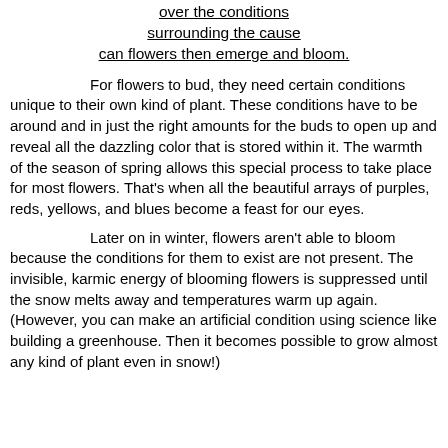over the conditions surrounding the cause can flowers then emerge and bloom.
For flowers to bud, they need certain conditions unique to their own kind of plant. These conditions have to be around and in just the right amounts for the buds to open up and reveal all the dazzling color that is stored within it. The warmth of the season of spring allows this special process to take place for most flowers. That's when all the beautiful arrays of purples, reds, yellows, and blues become a feast for our eyes.
Later on in winter, flowers aren't able to bloom because the conditions for them to exist are not present. The invisible, karmic energy of blooming flowers is suppressed until the snow melts away and temperatures warm up again. (However, you can make an artificial condition using science like building a greenhouse. Then it becomes possible to grow almost any kind of plant even in snow!)